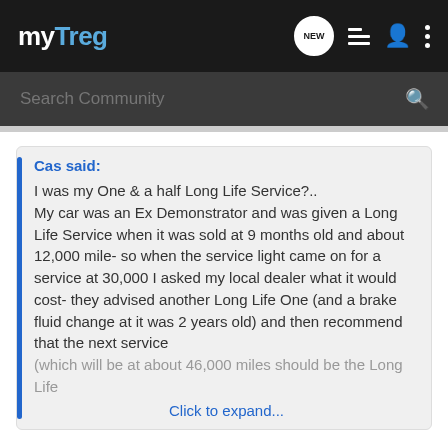myTreg
Search Community
Cas said:
I was my One & a half Long Life Service?..
My car was an Ex Demonstrator and was given a Long Life Service when it was sold at 9 months old and about 12,000 mile- so when the service light came on for a service at 30,000 I asked my local dealer what it would cost- they advised another Long Life One (and a brake fluid change at it was 2 years old) and then recommend that the next service (which will be at about 46,000 miles should be the Long Life
Click to expand...
Cheers Cas,
Very worthwhile info for when you are shopping around.
My Merc is in for it's second long life service on Friday, my two